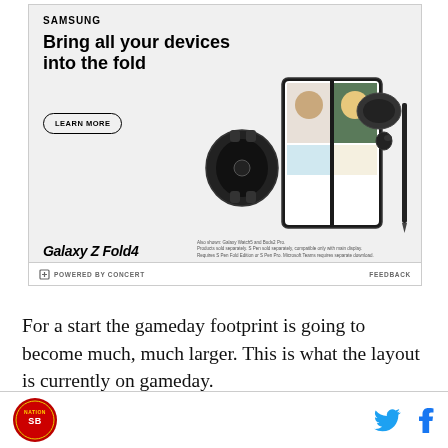[Figure (infographic): Samsung Galaxy Z Fold4 advertisement with headline 'Bring all your devices into the fold', a Learn More button, and product images showing a Galaxy phone in fold mode with video call, Galaxy Watch, and Galaxy Buds2 Pro]
For a start the gameday footprint is going to become much, much larger. This is what the layout is currently on gameday.
[Figure (logo): Website logo (circular red sports logo) at bottom left, and social media icons (Twitter bird, Facebook f) at bottom right]